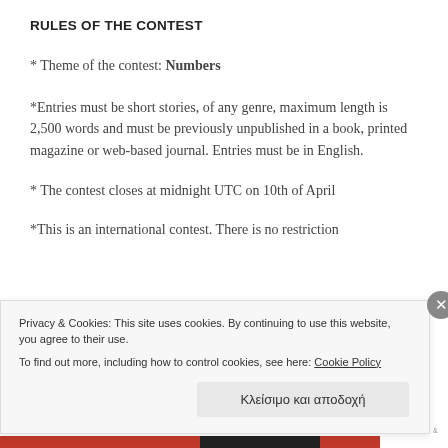RULES OF THE CONTEST
* Theme of the contest: Numbers
*Entries must be short stories, of any genre, maximum length is 2,500 words and must be previously unpublished in a book, printed magazine or web-based journal. Entries must be in English.
* The contest closes at midnight UTC on 10th of April
*This is an international contest. There is no restriction
Privacy & Cookies: This site uses cookies. By continuing to use this website, you agree to their use.
To find out more, including how to control cookies, see here: Cookie Policy
Κλείσιμο και αποδοχή